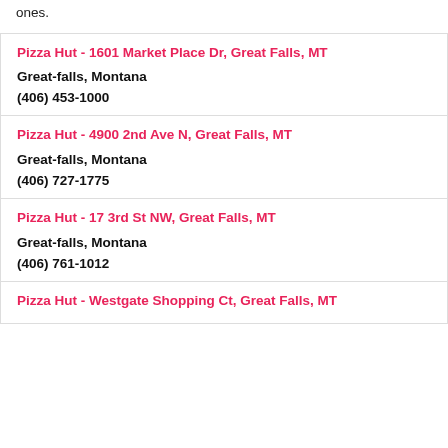ones.
Pizza Hut - 1601 Market Place Dr, Great Falls, MT
Great-falls, Montana
(406) 453-1000
Pizza Hut - 4900 2nd Ave N, Great Falls, MT
Great-falls, Montana
(406) 727-1775
Pizza Hut - 17 3rd St NW, Great Falls, MT
Great-falls, Montana
(406) 761-1012
Pizza Hut - Westgate Shopping Ct, Great Falls, MT